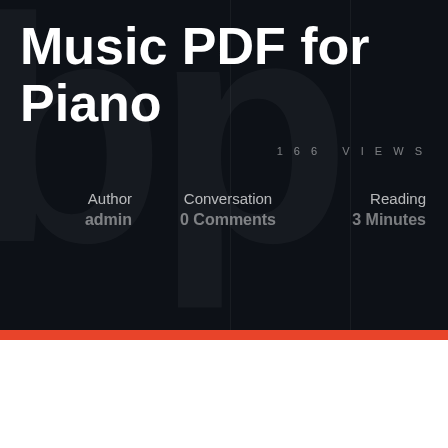Music PDF for Piano
166 VIEWS
Author
admin
Conversation
0 Comments
Reading
3 Minutes
SCROLL TO READ MORE